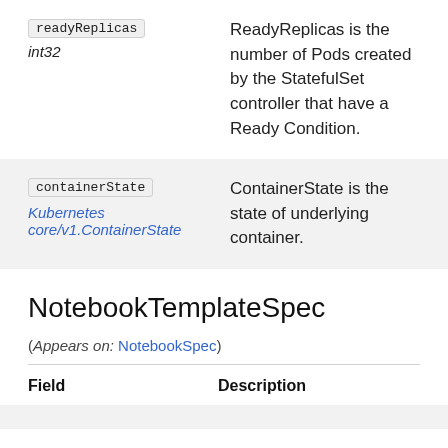| Field | Description |
| --- | --- |
| readyReplicas int32 | ReadyReplicas is the number of Pods created by the StatefulSet controller that have a Ready Condition. |
| containerState Kubernetes core/v1.ContainerState | ContainerState is the state of underlying container. |
NotebookTemplateSpec
(Appears on: NotebookSpec)
| Field | Description |
| --- | --- |